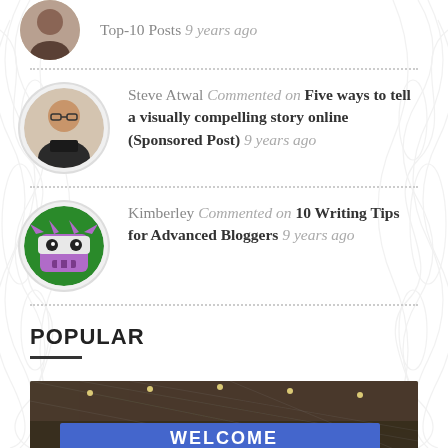Top-10 Posts 9 years ago
Steve Atwal Commented on Five ways to tell a visually compelling story online (Sponsored Post) 9 years ago
Kimberley Commented on 10 Writing Tips for Advanced Bloggers 9 years ago
POPULAR
[Figure (photo): Banner image with 'WELCOME' text at a conference or event venue]